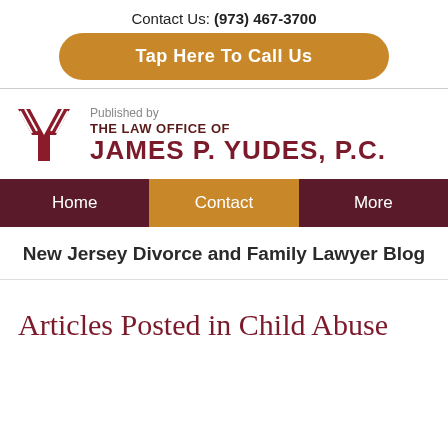Contact Us: (973) 467-3700
Tap Here To Call Us
[Figure (logo): Logo of The Law Office of James P. Yudes, P.C. with a stylized Y emblem in dark red]
Home  Contact  More
New Jersey Divorce and Family Lawyer Blog
Articles Posted in Child Abuse